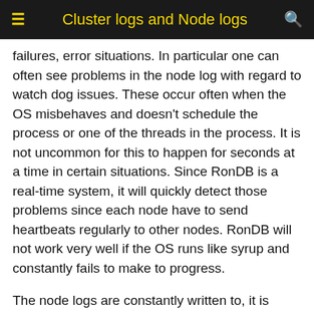Cluster logs and Node logs
failures, error situations. In particular one can often see problems in the node log with regard to watch dog issues. These occur often when the OS misbehaves and doesn't schedule the process or one of the threads in the process. It is not uncommon for this to happen for seconds at a time in certain situations. Since RonDB is a real-time system, it will quickly detect those problems since each node have to send heartbeats regularly to other nodes. RonDB will not work very well if the OS runs like syrup and constantly fails to make to progress.
The node logs are constantly written to, it is important to regularly copy them away and to empty the file. Otherwise there is a risk that the file system runs out of space for logging. A popular Linux tool to handle this is logrotate. This can be used together with cron to ensure that the log